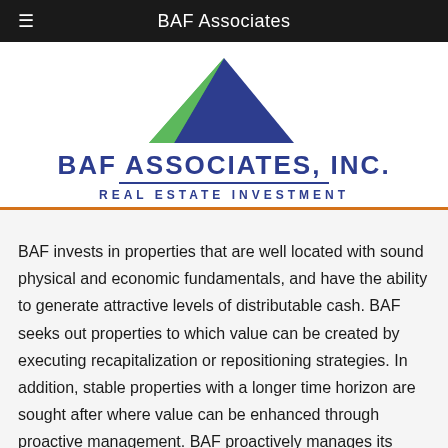BAF Associates
[Figure (logo): BAF Associates, Inc. Real Estate Investment logo with a triangle made of blue and green segments above the company name text]
BAF invests in properties that are well located with sound physical and economic fundamentals, and have the ability to generate attractive levels of distributable cash. BAF seeks out properties to which value can be created by executing recapitalization or repositioning strategies. In addition, stable properties with a longer time horizon are sought after where value can be enhanced through proactive management. BAF proactively manages its properties enabling them to outperform expectations. The team